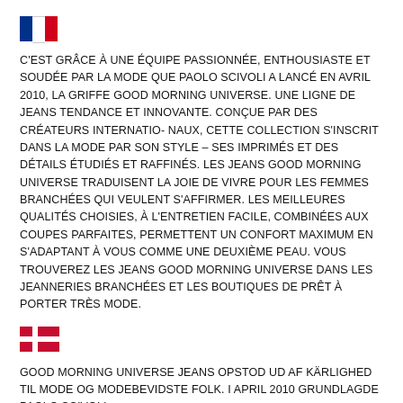[Figure (illustration): French flag (blue, white, red vertical stripes)]
C'EST GRÂCE À UNE ÉQUIPE PASSIONNÉE, ENTHOUSIASTE ET SOUDÉE PAR LA MODE QUE PAOLO SCIVOLI A LANCÉ EN AVRIL 2010, LA GRIFFE GOOD MORNING UNIVERSE. UNE LIGNE DE JEANS TENDANCE ET INNOVANTE. CONÇUE PAR DES CRÉATEURS INTERNATIO- NAUX, CETTE COLLECTION S'INSCRIT DANS LA MODE PAR SON STYLE – SES IMPRIMÉS ET DES DÉTAILS ÉTUDIÉS ET RAFFINÉS. LES JEANS GOOD MORNING UNIVERSE TRADUISENT LA JOIE DE VIVRE POUR LES FEMMES BRANCHÉES QUI VEULENT S'AFFIRMER. LES MEILLEURES QUALITÉS CHOISIES, À L'ENTRETIEN FACILE, COMBINÉES AUX COUPES PARFAITES, PERMETTENT UN CONFORT MAXIMUM EN S'ADAPTANT À VOUS COMME UNE DEUXIÈME PEAU. VOUS TROUVEREZ LES JEANS GOOD MORNING UNIVERSE DANS LES JEANNERIES BRANCHÉES ET LES BOUTIQUES DE PRÊT À PORTER TRÈS MODE.
[Figure (illustration): Danish flag (red background with white Nordic cross)]
GOOD MORNING UNIVERSE JEANS OPSTOD UD AF KÄRLIGHED TIL MODE OG MODEBEVIDSTE FOLK. I APRIL 2010 GRUNDLAGDE PAOLO SCIVOLI